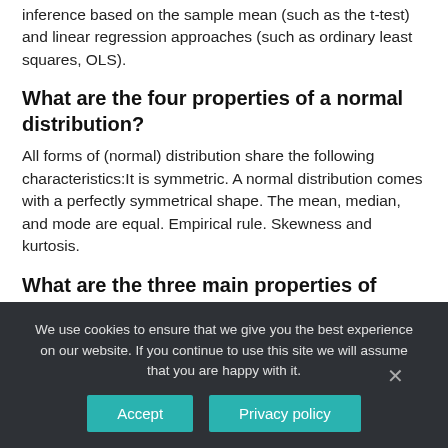inference based on the sample mean (such as the t-test) and linear regression approaches (such as ordinary least squares, OLS).
What are the four properties of a normal distribution?
All forms of (normal) distribution share the following characteristics:It is symmetric. A normal distribution comes with a perfectly symmetrical shape. The mean, median, and mode are equal. Empirical rule. Skewness and kurtosis.
What are the three main properties of distribution?
Geographers identify three main properties of distribution
We use cookies to ensure that we give you the best experience on our website. If you continue to use this site we will assume that you are happy with it.
Accept | Privacy policy